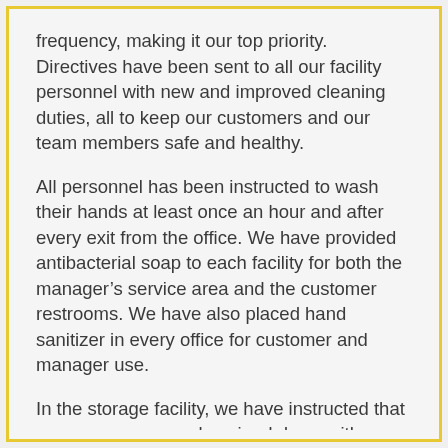frequency, making it our top priority.  Directives have been sent to all our facility personnel with new and improved cleaning duties, all to keep our customers and our team members safe and healthy.
All personnel has been instructed to wash their hands at least once an hour and after every exit from the office. We have provided antibacterial soap to each facility for both the manager's service area and the customer restrooms. We have also placed hand sanitizer in every office for customer and manager use.
In the storage facility, we have instructed that any common areas be wiped down with disinfectant wipes, especially frequently touched places, such as keypads, cart handles, and elevator buttons. While customers are at the facility, managers are urged to stay in the office with the doors locked and to conduct as much business as possible through locked doors.  Whenever that is not possible, social distancing is to be practiced